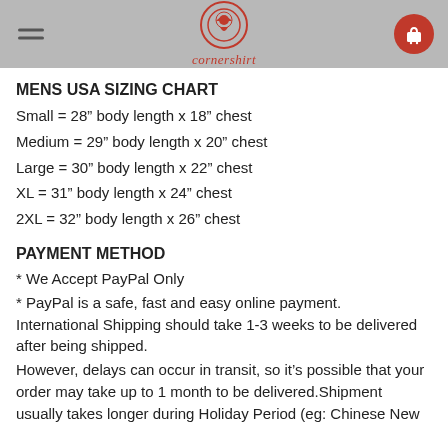[Figure (logo): Cornershirt logo with red circular emblem and italic red text 'cornershirt', hamburger menu on left, cart icon on right, on gray header]
MENS USA SIZING CHART
Small = 28" body length x 18" chest
Medium = 29" body length x 20" chest
Large = 30" body length x 22" chest
XL = 31" body length x 24" chest
2XL = 32" body length x 26" chest
PAYMENT METHOD
* We Accept PayPal Only
* PayPal is a safe, fast and easy online payment. International Shipping should take 1-3 weeks to be delivered after being shipped.
However, delays can occur in transit, so it’s possible that your order may take up to 1 month to be delivered.Shipment usually takes longer during Holiday Period (eg: Chinese New